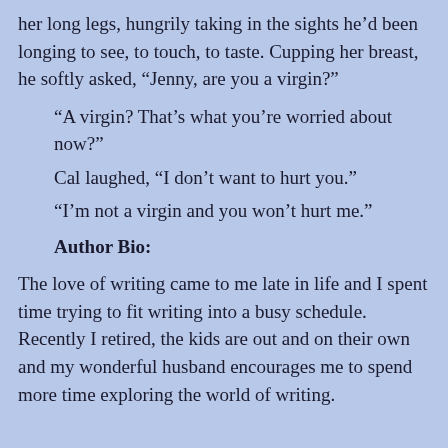her long legs, hungrily taking in the sights he'd been longing to see, to touch, to taste. Cupping her breast, he softly asked, “Jenny, are you a virgin?”
“A virgin? That’s what you’re worried about now?”
Cal laughed, “I don’t want to hurt you.”
“I’m not a virgin and you won’t hurt me.”
Author Bio:
The love of writing came to me late in life and I spent time trying to fit writing into a busy schedule. Recently I retired, the kids are out and on their own and my wonderful husband encourages me to spend more time exploring the world of writing.